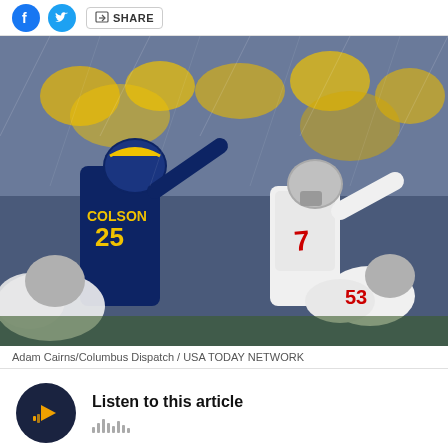SHARE
[Figure (photo): Ohio State quarterback #7 calling signals at the line of scrimmage against Michigan's #25 Colson in a snowy stadium game, with Ohio State lineman #53 in position]
Adam Cairns/Columbus Dispatch / USA TODAY NETWORK
Listen to this article